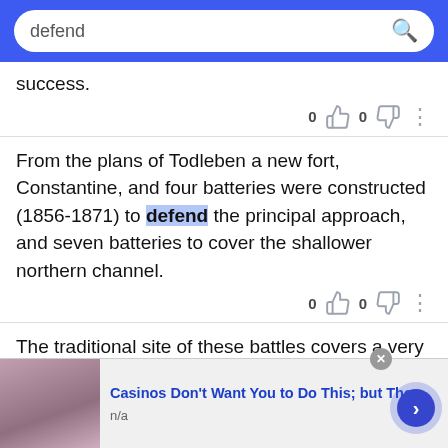defend
success.
From the plans of Todleben a new fort, Constantine, and four batteries were constructed (1856-1871) to defend the principal approach, and seven batteries to cover the shallower northern channel.
The traditional site of these battles covers a very wide area, and it is supposed that Arthur held a post analogous to that of the general who, under the Roman occupation, was known as Comes
[Figure (screenshot): Advertisement banner: casino ad with image on left, text 'Casinos Don't Want You to Do This; but They' and 'n/a' below, close button and next arrow button]